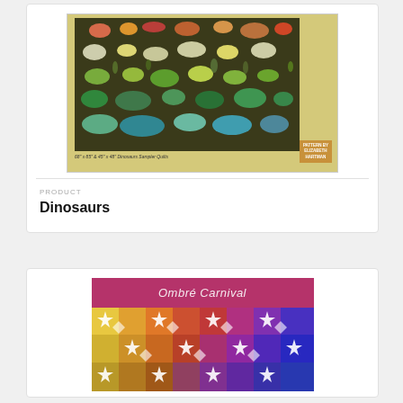[Figure (illustration): Dinosaurs quilt pattern product image showing various colorful dinosaur silhouettes on a dark background with a yellow-green border. Author badge reads 'Elizabeth Hartman'. Caption reads '68" x 85" & 45" x 48" Dinosaurs Sampler Quilts'.]
PRODUCT
Dinosaurs
[Figure (illustration): Ombre Carnival quilt pattern product image showing a colorful star pattern quilt in rainbow gradient colors with a magenta/pink header bar reading 'Ombré Carnival'.]